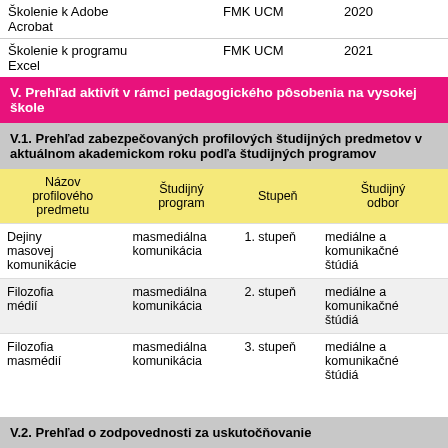|  |  |  |
| --- | --- | --- |
| Školenie k Adobe Acrobat | FMK UCM | 2020 |
| Školenie k programu Excel | FMK UCM | 2021 |
V. Prehľad aktivít v rámci pedagogického pôsobenia na vysokej škole
V.1. Prehľad zabezpečovaných profilových študijných predmetov v aktuálnom akademickom roku podľa študijných programov
| Názov profilového predmetu | Študijný program | Stupeň | Študijný odbor |
| --- | --- | --- | --- |
| Dejiny masovej komunikácie | masmediálna komunikácia | 1. stupeň | mediálne a komunikačné štúdiá |
| Filozofia médií | masmediálna komunikácia | 2. stupeň | mediálne a komunikačné štúdiá |
| Filozofia masmédií | masmediálna komunikácia | 3. stupeň | mediálne a komunikačné štúdiá |
V.2. Prehľad o zodpovednosti za uskutočňovanie